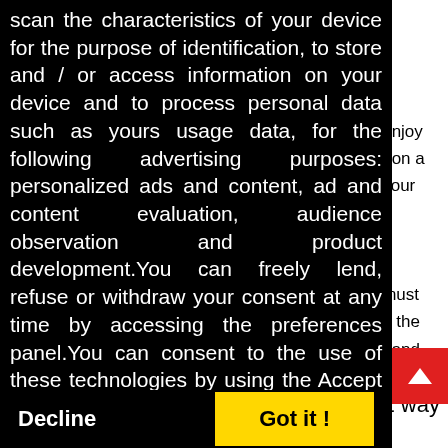scan the characteristics of your device for the purpose of identification, to store and / or access information on your device and to process personal data such as yours usage data, for the following advertising purposes: personalized ads and content, ad and content evaluation, audience observation and product development.You can freely lend, refuse or withdraw your consent at any time by accessing the preferences panel.You can consent to the use of these technologies by using the Accept button.Can we use your data to serve you personalized ads?
Read more about your privacy HERE
Decline
Got it !
a chance make this day end in the best way it can.